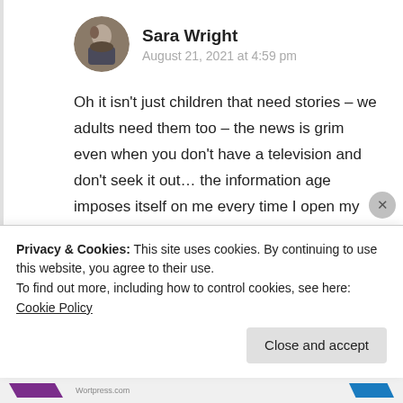[Figure (photo): Circular avatar photo of Sara Wright, a person outdoors wearing dark clothing]
Sara Wright
August 21, 2021 at 4:59 pm
Oh it isn't just children that need stories – we adults need them too – the news is grim even when you don't have a television and don't seek it out… the information age imposes itself on me every time I open my computer.
↳ Reply
Privacy & Cookies: This site uses cookies. By continuing to use this website, you agree to their use.
To find out more, including how to control cookies, see here: Cookie Policy
Close and accept